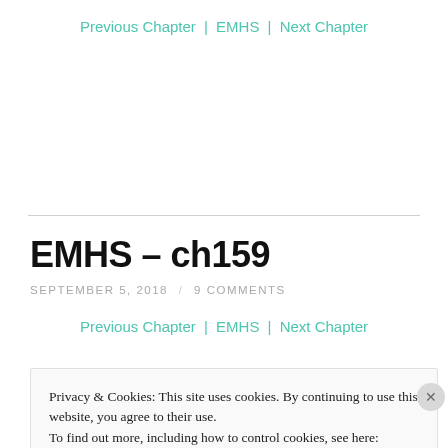Previous Chapter | EMHS | Next Chapter
EMHS – ch159
SEPTEMBER 5, 2018 / 9 COMMENTS
Previous Chapter | EMHS | Next Chapter
Privacy & Cookies: This site uses cookies. By continuing to use this website, you agree to their use.
To find out more, including how to control cookies, see here: Cookie Policy
Close and accept